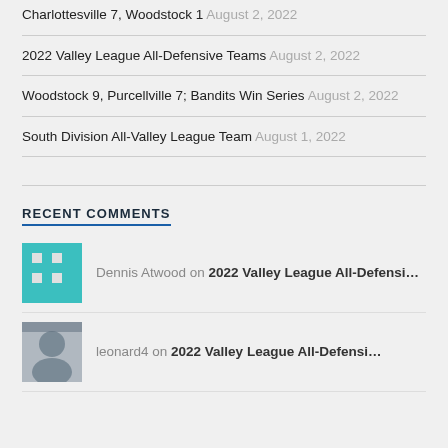Charlottesville 7, Woodstock 1 August 2, 2022
2022 Valley League All-Defensive Teams August 2, 2022
Woodstock 9, Purcellville 7; Bandits Win Series August 2, 2022
South Division All-Valley League Team August 1, 2022
RECENT COMMENTS
Dennis Atwood on 2022 Valley League All-Defensi...
leonard4 on 2022 Valley League All-Defensi...